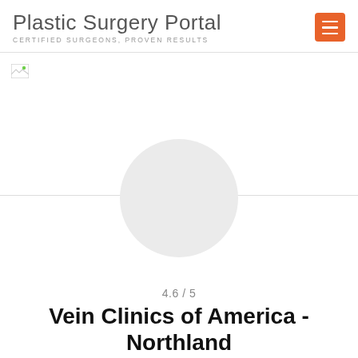Plastic Surgery Portal
CERTIFIED SURGEONS, PROVEN RESULTS
[Figure (photo): Hero banner image area with broken image icon in top-left corner, and a large circular avatar/profile placeholder overlapping the bottom of the image area]
4.6 / 5
Vein Clinics of America - Northland